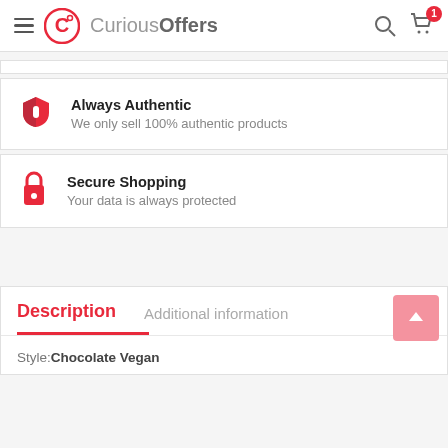CuriousOffers
Always Authentic — We only sell 100% authentic products
Secure Shopping — Your data is always protected
Description
Additional information
Style:Chocolate Vegan